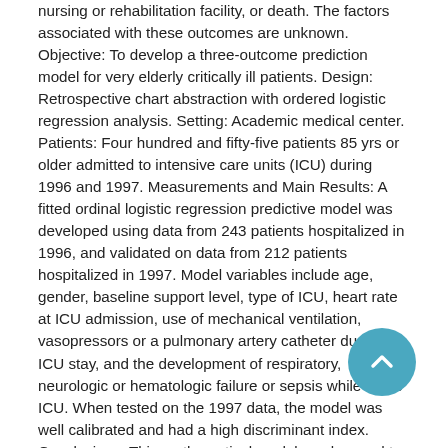nursing or rehabilitation facility, or death. The factors associated with these outcomes are unknown. Objective: To develop a three-outcome prediction model for very elderly critically ill patients. Design: Retrospective chart abstraction with ordered logistic regression analysis. Setting: Academic medical center. Patients: Four hundred and fifty-five patients 85 yrs or older admitted to intensive care units (ICU) during 1996 and 1997. Measurements and Main Results: A fitted ordinal logistic regression predictive model was developed using data from 243 patients hospitalized in 1996, and validated on data from 212 patients hospitalized in 1997. Model variables include age, gender, baseline support level, type of ICU, heart rate at ICU admission, use of mechanical ventilation, vasopressors or a pulmonary artery catheter during the ICU stay, and the development of respiratory, neurologic or hematologic failure or sepsis while in the ICU. When tested on the 1997 data, the model was well calibrated and had a high discriminant index. Conclusions: This mathematical model can be used to predict the risks of these three hospital outcomes far this population of patients. These predictions can provide a context when discussing goals and expectations with patients, families, and other healthcare providers and to aid in hospital discharge planning.